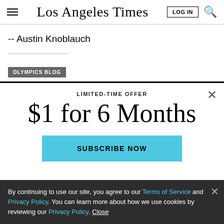Los Angeles Times
-- Austin Knoblauch
OLYMPICS BLOG
LIMITED-TIME OFFER
$1 for 6 Months
SUBSCRIBE NOW
By continuing to use our site, you agree to our Terms of Service and Privacy Policy. You can learn more about how we use cookies by reviewing our Privacy Policy. Close